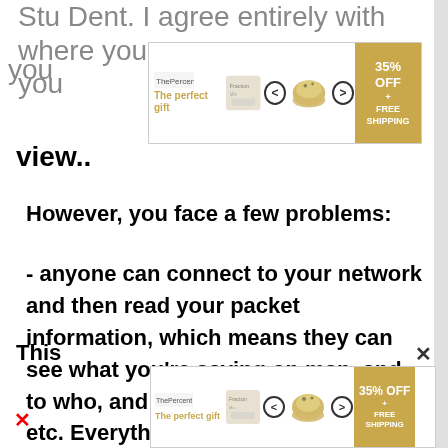Stu Dent. I agree entirely with where you view..
[Figure (screenshot): Advertisement banner: 'The perfect gift' with product carousel, bowl images, navigation arrows, and '35% OFF + FREE SHIPPING' offer badge]
However, you face a few problems:
- anyone can connect to your network and then read your packet information, which means they can see what you're saying on msn, and to who, and any websites you visit, etc. Everything online that's unencrypted basically.
This...
[Figure (screenshot): Advertisement banner (bottom): 'The perfect gift' with product carousel, bowl images, navigation arrows, and '35% OFF + FREE SHIPPING' offer badge]